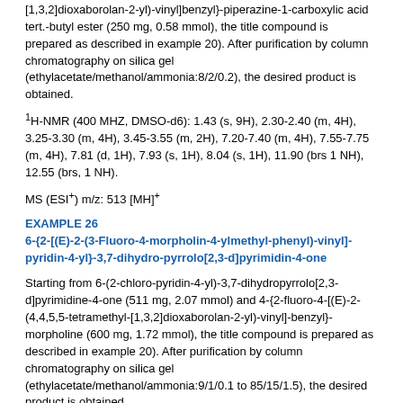[1,3,2]dioxaborolan-2-yl)-vinyl]benzyl}-piperazine-1-carboxylic acid tert.-butyl ester (250 mg, 0.58 mmol), the title compound is prepared as described in example 20). After purification by column chromatography on silica gel (ethylacetate/methanol/ammonia:8/2/0.2), the desired product is obtained.
1H-NMR (400 MHZ, DMSO-d6): 1.43 (s, 9H), 2.30-2.40 (m, 4H), 3.25-3.30 (m, 4H), 3.45-3.55 (m, 2H), 7.20-7.40 (m, 4H), 7.55-7.75 (m, 4H), 7.81 (d, 1H), 7.93 (s, 1H), 8.04 (s, 1H), 11.90 (brs 1 NH), 12.55 (brs, 1 NH).
MS (ESI+) m/z: 513 [MH]+
EXAMPLE 26
6-{2-[(E)-2-(3-Fluoro-4-morpholin-4-ylmethyl-phenyl)-vinyl]-pyridin-4-yl}-3,7-dihydro-pyrrolo[2,3-d]pyrimidin-4-one
Starting from 6-(2-chloro-pyridin-4-yl)-3,7-dihydropyrrolo[2,3-d]pyrimidine-4-one (511 mg, 2.07 mmol) and 4-{2-fluoro-4-[(E)-2-(4,4,5,5-tetramethyl-[1,3,2]dioxaborolan-2-yl)-vinyl]-benzyl}-morpholine (600 mg, 1.72 mmol), the title compound is prepared as described in example 20). After purification by column chromatography on silica gel (ethylacetate/methanol/ammonia:9/1/0.1 to 85/15/1.5), the desired product is obtained.
1H-NMR (400 MHZ, DMSO-d6): 2.39 (brs 4H), 3.52 (s, 2H), 3.57 (brs, 4H)